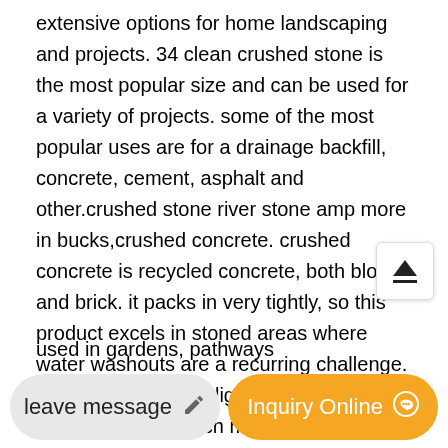extensive options for home landscaping and projects. 34 clean crushed stone is the most popular size and can be used for a variety of projects. some of the most popular uses are for a drainage backfill, concrete, cement, asphalt and other.crushed stone river stone amp more in bucks,crushed concrete. crushed concrete is recycled concrete, both block and brick. it packs in very tightly, so this product excels in stoned areas where water washouts are a recurring challenge. crushed concrete is lighter than regular crushed stone, which means you get 14 to 17 more volume per ton..pavestone 05 cu ft crushed bluestone 64 bags 32 cu,jul 02, 2019 the pavestone crushed bluestone is a versatile, neutral-colored
used in gardens, pathways